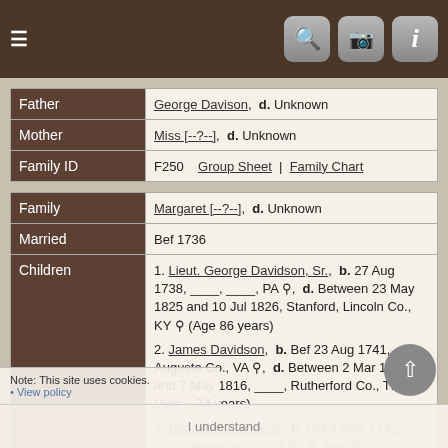Navigation bar with hamburger menu and search, camera, info icons
| Label | Value |
| --- | --- |
| Father | George Davison,  d. Unknown |
| Mother | Miss [--?--],  d. Unknown |
| Family ID | F250  |  Group Sheet  |  Family Chart |
| Label | Value |
| --- | --- |
| Family | Margaret [--?--],  d. Unknown |
| Married | Bef 1736 |
| Children | 1. Lieut. George Davidson, Sr.,  b. 27 Aug 1738, ____, ____, PA,  d. Between 23 May 1825 and 10 Jul 1826, Stanford, Lincoln Co., KY  (Age 86 years)
2. James Davidson,  b. Bef 23 Aug 1741, ____, Augusta Co., VA,  d. Between 2 Mar 1816 and 7 May 1816, ____, Rutherford Co., TN  (Age ~ 74 years)
3. Benjamin Davidson,  b. Bef 8 May 1742, ____, Augusta Co., VA,  d. Abt 1825, Davidson River, Transylvania Co., NC  (Age ~ 82 years)
4. Capt. John Davidson,  b. Bef 25 Nov 1744, Beverly Manor, Augusta Co., VA,  d. 6 Aug 1780, Battle of Hanging Rock, ____, SC  (Age ~ 35 years) |
Note: This site uses cookies.
• View policy
I understand